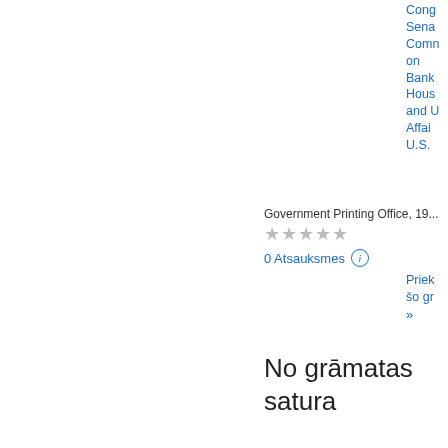[Figure (illustration): Book cover thumbnail of a U.S. Senate Hearing document: 'HEARING BEFORE THE COMMITTEE ON BANKING, HOUSING, AND URBAN AFFAIRS UNITED STATES SENATE ONE HUNDRED THIRD CONGRESS SECOND SESSION VOLUME XXII RESOLUTION TRUST CORPORATION (RTC) DOCUMENT PRODUCTION IN RESPONSE TO S. RES. 789'. Published by U.S. Government Printing Office.]
Congressional Senate Committee on Banking, Housing, and Urban Affairs U.S.
Government Printing Office, 19...
★★★★★
0 Atsauksmes
Priekšskatīt šo grāmatu »
No grāmatas satura